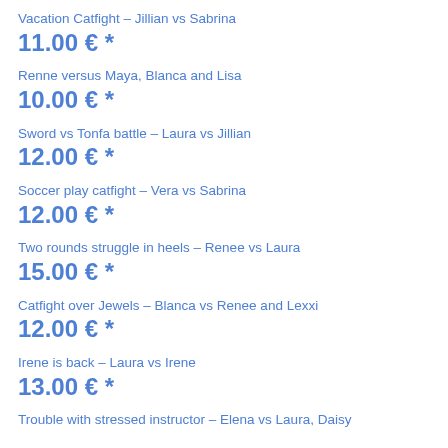Vacation Catfight – Jillian vs Sabrina
11.00 € *
Renne versus Maya, Blanca and Lisa
10.00 € *
Sword vs Tonfa battle – Laura vs Jillian
12.00 € *
Soccer play catfight – Vera vs Sabrina
12.00 € *
Two rounds struggle in heels – Renee vs Laura
15.00 € *
Catfight over Jewels – Blanca vs Renee and Lexxi
12.00 € *
Irene is back – Laura vs Irene
13.00 € *
Trouble with stressed instructor – Elena vs Laura, Daisy